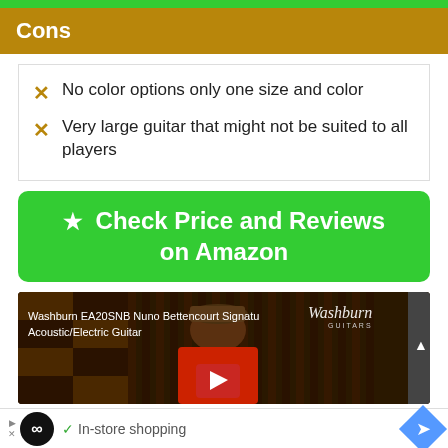Cons
No color options only one size and color
Very large guitar that might not be suited to all players
[Figure (other): Green button: Check Price and Reviews on Amazon with star icon]
[Figure (screenshot): Washburn EA20SNB Nuno Bettencourt Signature Acoustic/Electric Guitar video thumbnail with play button]
[Figure (other): Advertisement bar with infinity logo, checkmark, In-store shopping text, and navigation arrow]